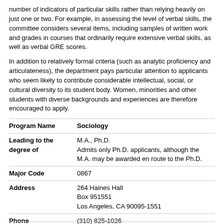number of indicators of particular skills rather than relying heavily on just one or two. For example, in assessing the level of verbal skills, the committee considers several items, including samples of written work and grades in courses that ordinarily require extensive verbal skills, as well as verbal GRE scores.
In addition to relatively formal criteria (such as analytic proficiency and articulateness), the department pays particular attention to applicants who seem likely to contribute considerable intellectual, social, or cultural diversity to its student body. Women, minorities and other students with diverse backgrounds and experiences are therefore encouraged to apply.
| Program Name | Sociology |
| Leading to the degree of | M.A., Ph.D.
Admits only Ph.D. applicants, although the M.A. may be awarded en route to the Ph.D. |
| Major Code | 0867 |
| Address | 264 Haines Hall
Box 951551
Los Angeles, CA 90095-1551 |
| Phone | (310) 825-1026 |
| Email | drhodes@soc.ucla.edu  / itauber@soc.ucla.edu |
| Website | soc.ucla.edu |